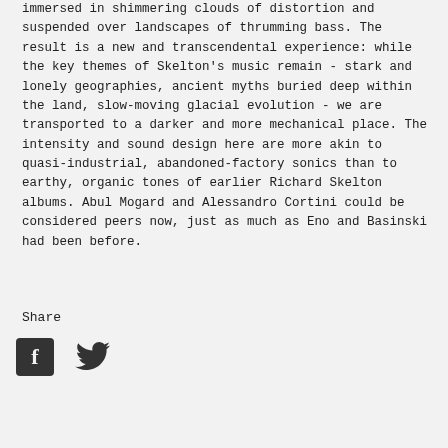immersed in shimmering clouds of distortion and suspended over landscapes of thrumming bass. The result is a new and transcendental experience: while the key themes of Skelton's music remain - stark and lonely geographies, ancient myths buried deep within the land, slow-moving glacial evolution - we are transported to a darker and more mechanical place. The intensity and sound design here are more akin to quasi-industrial, abandoned-factory sonics than to earthy, organic tones of earlier Richard Skelton albums. Abul Mogard and Alessandro Cortini could be considered peers now, just as much as Eno and Basinski had been before.
Share
[Figure (other): Social sharing icons: Facebook (f) and Twitter (bird) icons]